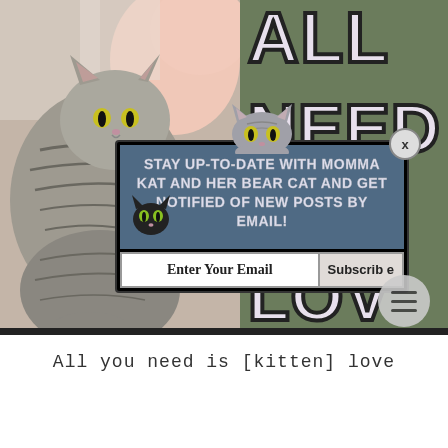[Figure (photo): Split image: left side shows a tabby cat cuddled next to a sleeping baby/person with pink skin, right side shows a sage green background with large bold outlined text reading 'ALL YOU NEED IS [KITTEN] LOVE' in decorative heavy font, partially cut off]
[Figure (screenshot): Email subscription popup modal with dark border and blue-grey background. Top shows a cartoon cat icon. Text reads: STAY UP-TO-DATE WITH MOMMA KAT AND HER BEAR CAT AND GET NOTIFIED OF NEW POSTS BY EMAIL! Below is an email input field and Subscribe button. Small cartoon black cat icon on left. X close button top-right.]
All you need is [kitten] love